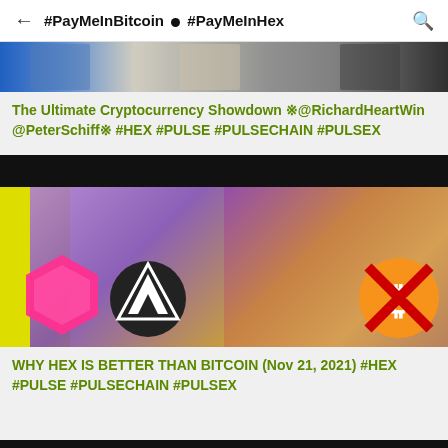#PayMeInBitcoin ● #PayMeInHex
[Figure (photo): A horizontal strip of photos showing people, partially cropped at top.]
The Ultimate Cryptocurrency Showdown ※@RichardHeartWin @PeterSchiff※ #HEX #PULSE #PULSECHAIN #PULSEX
[Figure (photo): Composite image with black top bar, yellow and magenta background with cryptocurrency coin logos (HEX, PULSE, Bitcoin-style).]
WHY HEX IS BETTER THAN BITCOIN (Nov 21, 2021) #HEX #PULSE #PULSECHAIN #PULSEX